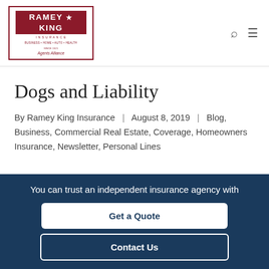Ramey King Insurance
Dogs and Liability
By Ramey King Insurance | August 8, 2019 | Blog, Business, Commercial Real Estate, Coverage, Homeowners Insurance, Newsletter, Personal Lines
You can trust an independent insurance agency with
Get a Quote
Contact Us